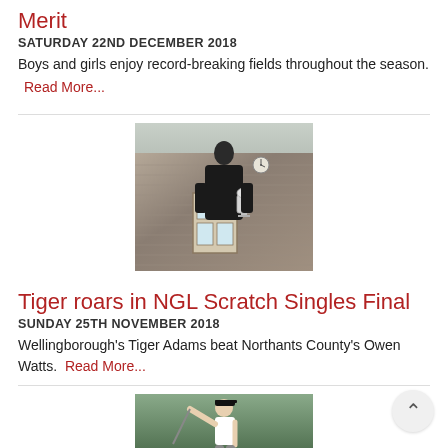Merit
SATURDAY 22ND DECEMBER 2018
Boys and girls enjoy record-breaking fields throughout the season.
Read More...
[Figure (photo): Young man holding a silver trophy cup, standing in front of a stone brick building with a white-framed window and a clock on the wall]
Tiger roars in NGL Scratch Singles Final
SUNDAY 25TH NOVEMBER 2018
Wellingborough's Tiger Adams beat Northants County's Owen Watts.  Read More...
[Figure (photo): Young golfer in white shirt and black cap mid-swing with a golf club, outdoor setting with greenery in background]